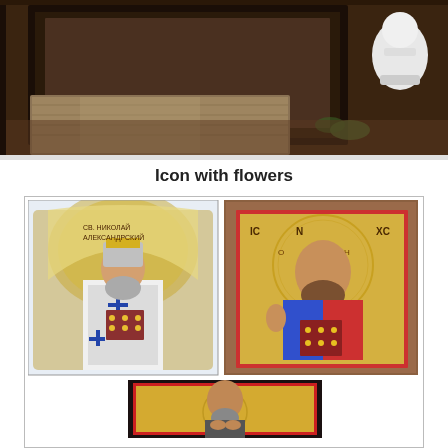[Figure (photo): Top photo showing framed icons and old books/manuscripts on a dark wooden surface with a white chess piece visible in the upper right corner]
Icon with flowers
[Figure (photo): Gallery of three religious icons: left icon shows a bishop/saint in vestments with crosses (Cyrillic text reads Св. Николай Александрский), right icon shows Christ Pantocrator holding a jeweled book with IC XC halo inscription, and bottom center icon shows another saint with halo in a dark ornate frame with gold background]